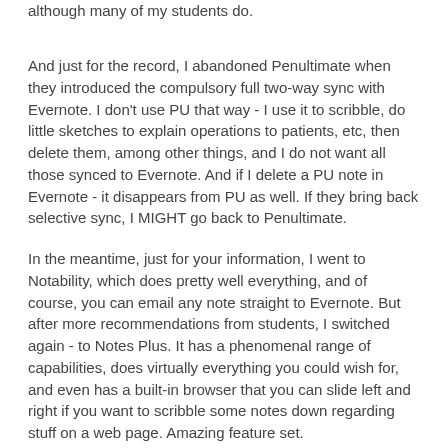although many of my students do.
And just for the record, I abandoned Penultimate when they introduced the compulsory full two-way sync with Evernote.  I don't use PU that way - I use it to scribble, do little sketches to explain operations to patients, etc, then delete them, among other things, and I do not want all those synced to Evernote.  And if I delete a PU note in Evernote - it disappears from PU as well.  If they bring back selective sync, I MIGHT go back to Penultimate.
In the meantime, just for your information, I went to Notability, which does pretty well everything, and of course, you can email any note straight to Evernote.  But after more recommendations from students, I switched again - to Notes Plus.  It has a phenomenal range of capabilities, does virtually everything you could wish for, and even has a built-in browser that you can slide left and right if you want to scribble some notes down regarding stuff on a web page.  Amazing feature set.